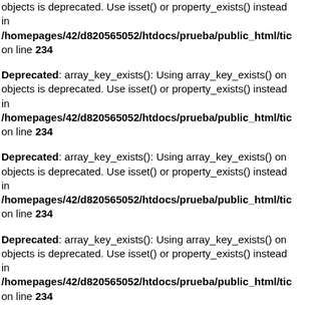objects is deprecated. Use isset() or property_exists() instead in /homepages/42/d820565052/htdocs/prueba/public_html/tic on line 234
Deprecated: array_key_exists(): Using array_key_exists() on objects is deprecated. Use isset() or property_exists() instead in /homepages/42/d820565052/htdocs/prueba/public_html/tic on line 234
Deprecated: array_key_exists(): Using array_key_exists() on objects is deprecated. Use isset() or property_exists() instead in /homepages/42/d820565052/htdocs/prueba/public_html/tic on line 234
Deprecated: array_key_exists(): Using array_key_exists() on objects is deprecated. Use isset() or property_exists() instead in /homepages/42/d820565052/htdocs/prueba/public_html/tic on line 234